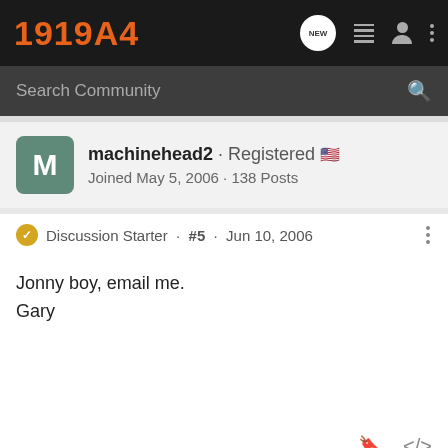1919A4
Search Community
machinehead2 · Registered
Joined May 5, 2006 · 138 Posts
Discussion Starter · #5 · Jun 10, 2006
Jonny boy, email me.
Gary
[Figure (infographic): Advertisement banner: gun image on left, text 'SEEKING LONG RANGE RELATIONSHIP' with KEL TEC logo and 'THE CP33 PISTOL']